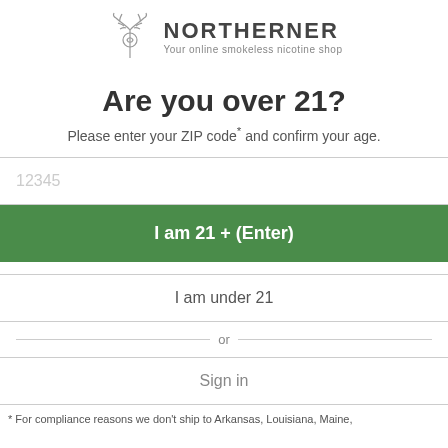[Figure (logo): Northerner brand logo with antler/botanical emblem and text 'NORTHERNER - Your online smokeless nicotine shop']
Are you over 21?
Please enter your ZIP code* and confirm your age.
12345 (ZIP code input placeholder)
I am 21 + (Enter)
I am under 21
or
Sign in
* For compliance reasons we don't ship to Arkansas, Louisiana, Maine,